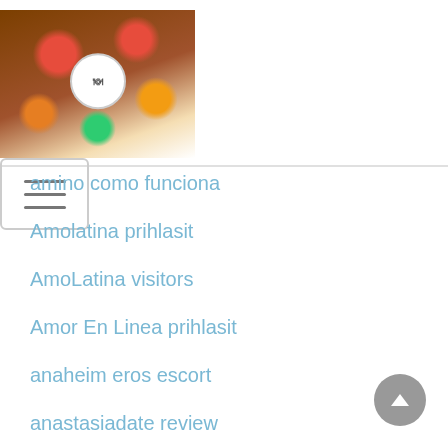[Logo image with food/cookbook theme] [Hamburger menu button]
amino como funciona
Amolatina prihlasit
AmoLatina visitors
Amor En Linea prihlasit
anaheim eros escort
anastasiadate review
Anastasiadate visitors
android-pl przejrze?
angelreturn review
antichat gratuit
app